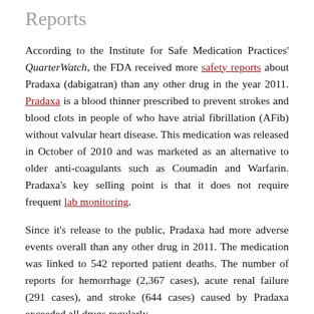Reports
According to the Institute for Safe Medication Practices' QuarterWatch, the FDA received more safety reports about Pradaxa (dabigatran) than any other drug in the year 2011. Pradaxa is a blood thinner prescribed to prevent strokes and blood clots in people of who have atrial fibrillation (AFib) without valvular heart disease. This medication was released in October of 2010 and was marketed as an alternative to older anti-coagulants such as Coumadin and Warfarin. Pradaxa's key selling point is that it does not require frequent lab monitoring.
Since it's release to the public, Pradaxa had more adverse events overall than any other drug in 2011. The medication was linked to 542 reported patient deaths. The number of reports for hemorrhage (2,367 cases), acute renal failure (291 cases), and stroke (644 cases) caused by Pradaxa exceeded all drugs regularly